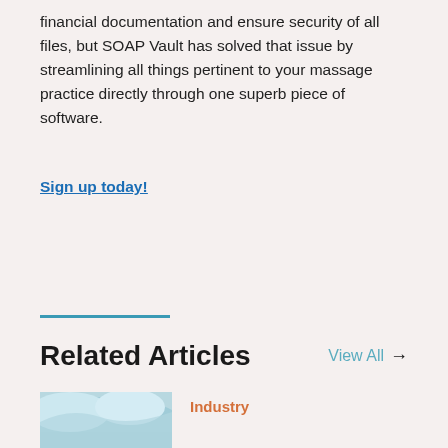financial documentation and ensure security of all files, but SOAP Vault has solved that issue by streamlining all things pertinent to your massage practice directly through one superb piece of software.
Sign up today!
Related Articles
View All →
[Figure (photo): Photo of massage-related image with blue/teal fabric or linens]
Industry